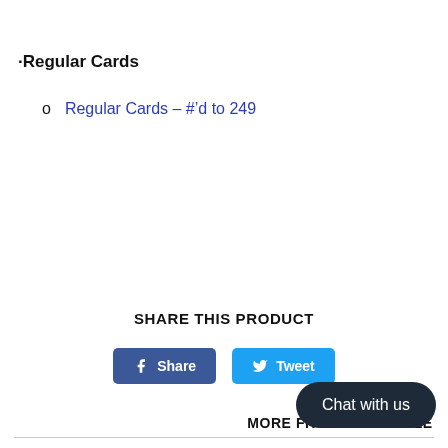·Regular Cards
Regular Cards – #’d to 249
SHARE THIS PRODUCT
[Figure (other): Facebook Share button and Twitter Tweet button]
MORE FROM THIS COLLE
Chat with us